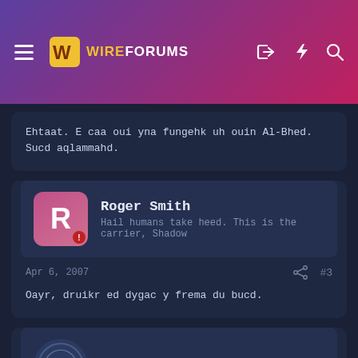WIREFORUMS
Ehtaat. E caa oui yna fungehk uh ouin Al-Bhed. Sucd aqlammahd.
Roger Smith
Hail humans take heed. This is the carrier, Shadow
Apr 6, 2007  #3
Oayr, druikr ed dygac y frema du bucd.
Nazo